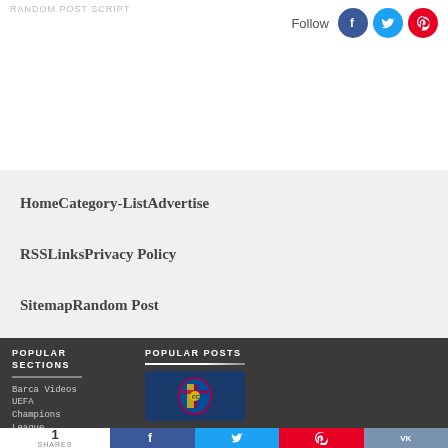RANDOM POST SCRIPT
Follow
Home
Category-List
Advertise
RSS
Links
Privacy Policy
Sitemap
Random Post
POPULAR SECTIONS
Barca Videos UEFA Champions League
POPULAR POSTS
[Figure (logo): FC Barcelona logo on dark blue background]
1 SHARES
Facebook share button
Twitter share button
Pinterest share button
VK share button